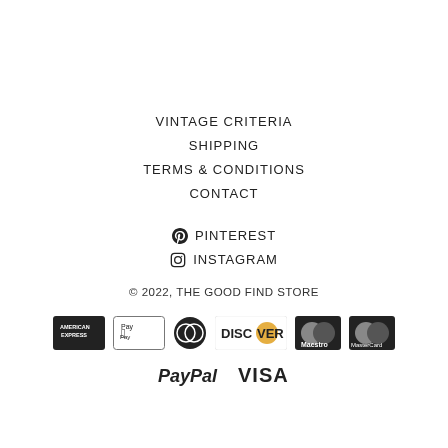VINTAGE CRITERIA
SHIPPING
TERMS & CONDITIONS
CONTACT
PINTEREST
INSTAGRAM
© 2022, THE GOOD FIND STORE
[Figure (logo): Payment method logos: American Express, Apple Pay, Diners Club, Discover, Maestro, MasterCard, PayPal, Visa]